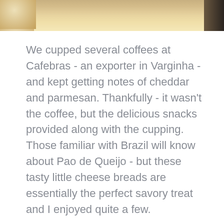[Figure (photo): Close-up photo of Pao de Queijo (Brazilian cheese bread rolls) in a white container, partially visible at the top of the page]
We cupped several coffees at Cafebras - an exporter in Varginha - and kept getting notes of cheddar and parmesan. Thankfully - it wasn't the coffee, but the delicious snacks provided along with the cupping. Those familiar with Brazil will know about Pao de Queijo - but these tasty little cheese breads are essentially the perfect savory treat and I enjoyed quite a few.